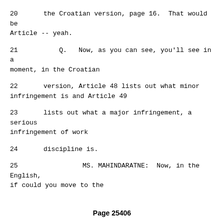20     the Croatian version, page 16.  That would be Article -- yeah.
21        Q.   Now, as you can see, you'll see in a moment, in the Croatian
22     version, Article 48 lists out what minor infringement is and Article 49
23     lists out what a major infringement, a serious infringement of work
24     discipline is.
25             MS. MAHINDARATNE:  Now, in the English, if could you move to the
Page 25406